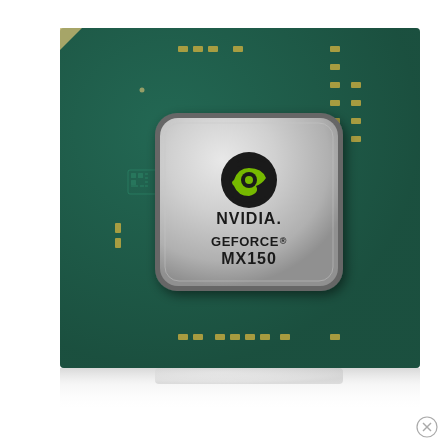[Figure (photo): NVIDIA GeForce MX150 GPU chip on a dark green PCB circuit board. The chip has a silver metallic cap with the NVIDIA logo (eye/swirl icon) and text 'GEFORCE MX150'. Surrounding the chip are numerous small surface-mount components (capacitors/resistors). The board has a reflective surface at the bottom.]